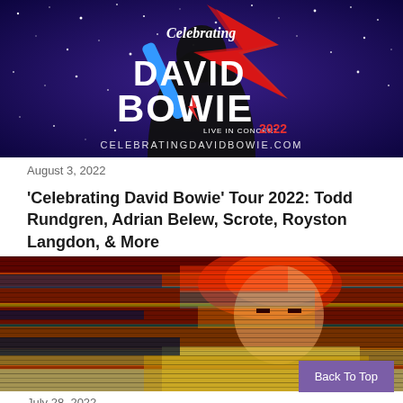[Figure (photo): Celebrating David Bowie Live In Concert 2022 promotional poster with starry blue background, red lightning bolt, silhouette, and text CELEBRATINGDAVIDBOWIE.COM]
August 3, 2022
'Celebrating David Bowie' Tour 2022: Todd Rundgren, Adrian Belew, Scrote, Royston Langdon, & More
[Figure (photo): Glitch-art style colorful photo of David Bowie with distorted horizontal lines and vivid colors]
July 28, 2022